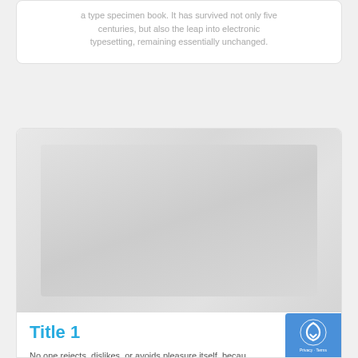a type specimen book. It has survived not only five centuries, but also the leap into electronic typesetting, remaining essentially unchanged.
[Figure (photo): Large light gray placeholder image area inside a card]
Title 1
No one rejects, dislikes, or avoids pleasure itself, becau... in pleasure, but because those who do not know how...